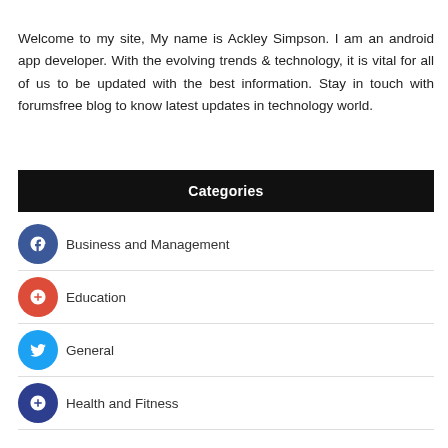Welcome to my site, My name is Ackley Simpson. I am an android app developer. With the evolving trends & technology, it is vital for all of us to be updated with the best information. Stay in touch with forumsfree blog to know latest updates in technology world.
Categories
Business and Management
Education
General
Health and Fitness
Home and Garden
Legal